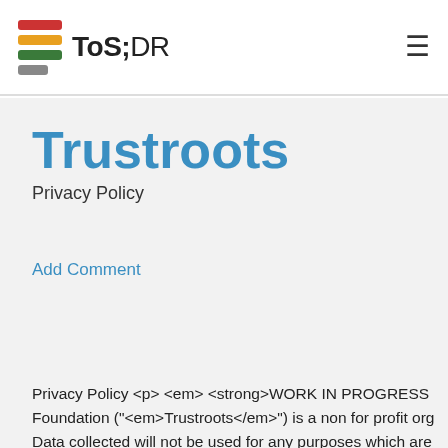ToS;DR
Trustroots
Privacy Policy
Add Comment
Privacy Policy <p> <em> <strong>WORK IN PROGRESS Foundation ("<em>Trustroots</em>") is a non for profit org Data collected will not be used for any purposes which are the Trustroots by laws.</p> <p>In order to be fully transpa privacy policy. The Trustroots Foundation uses this privacy